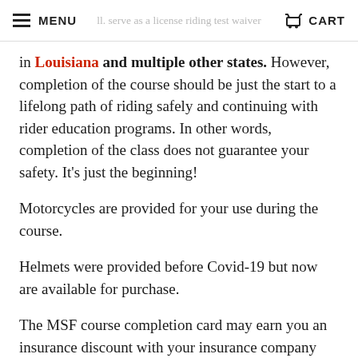MENU   [header text: ...ll. serve as a license riding test waiver...]   CART
in Louisiana and multiple other states. However, completion of the course should be just the start to a lifelong path of riding safely and continuing with rider education programs. In other words, completion of the class does not guarantee your safety. It's just the beginning!
Motorcycles are provided for your use during the course.
Helmets were provided before Covid-19 but now are available for purchase.
The MSF course completion card may earn you an insurance discount with your insurance company once they are notified of completion.